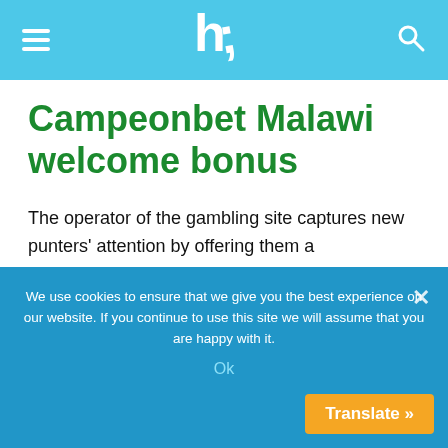Navigation bar with hamburger menu, logo, and search icon
Campeonbet Malawi welcome bonus
The operator of the gambling site captures new punters' attention by offering them a Campeonbet match deposit offer of cash up to €/£/$100. For the first €/£/$20 or more, you will deposit it in your account.
We use cookies to ensure that we give you the best experience on our website. If you continue to use this site we will assume that you are happy with it.